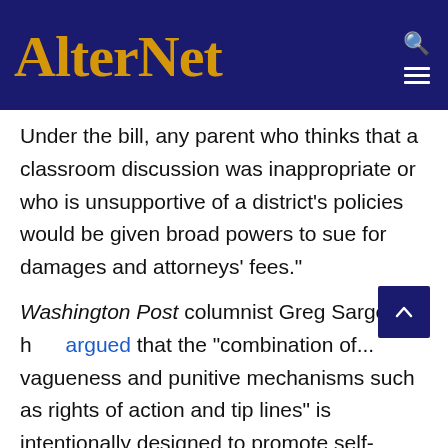AlterNet
Under the bill, any parent who thinks that a classroom discussion was inappropriate or who is unsupportive of a district's policies would be given broad powers to sue for damages and attorneys' fees."
Washington Post columnist Greg Sargent has argued that the "combination of... vagueness and punitive mechanisms such as rights of action and tip lines" is intentionally designed to promote self-censorship. "Precisely because teachers might fear that they can't anticipate